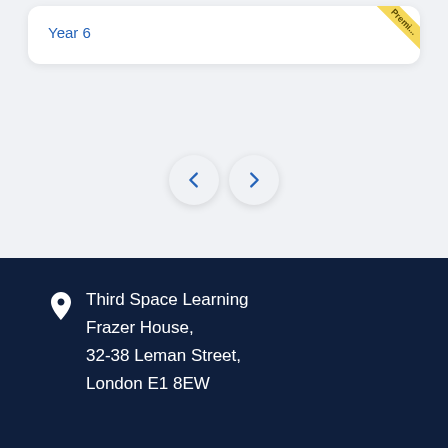Year 6
[Figure (other): Premium ribbon badge in top-right corner of card]
[Figure (other): Navigation left and right arrow buttons]
Third Space Learning
Frazer House,
32-38 Leman Street,
London E1 8EW